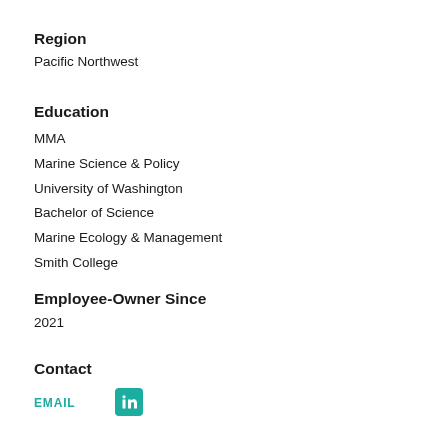Region
Pacific Northwest
Education
MMA
Marine Science & Policy
University of Washington
Bachelor of Science
Marine Ecology & Management
Smith College
Employee-Owner Since
2021
Contact
EMAIL
[Figure (logo): LinkedIn logo in teal square]